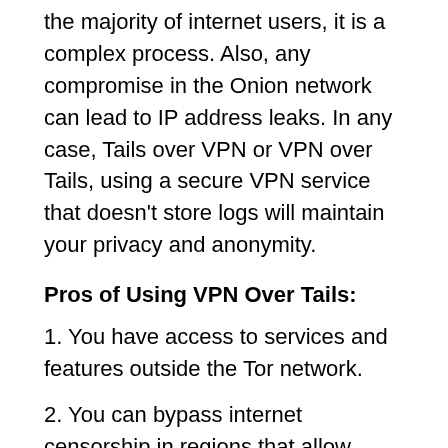the majority of internet users, it is a complex process. Also, any compromise in the Onion network can lead to IP address leaks. In any case, Tails over VPN or VPN over Tails, using a secure VPN service that doesn't store logs will maintain your privacy and anonymity.
Pros of Using VPN Over Tails:
1. You have access to services and features outside the Tor network.
2. You can bypass internet censorship in regions that allow access to Tor.
Cons of Using VPN Over Tails:
1. You don't have access to services and features on the Tor network.
2. Your IP address will be exposed if the Tor network gets